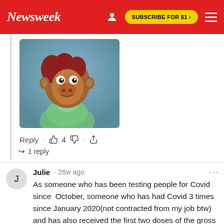Newsweek | SUBSCRIBE FOR $1 >
[Figure (photo): A puppet character (monkey/animal) with reddish-brown hair wearing a green outfit, looking sideways with a skeptical or concerned expression — resembles a meme image.]
Reply · 👍 4 👎 · ⬆
↪ 1 reply
Julie · 26w ago
As someone who has been testing people for Covid since  October, someone who has had Covid 3 times since January 2020(not contracted from my job btw) and has also received the first two doses of the gross stuff they keep referring to as a …See